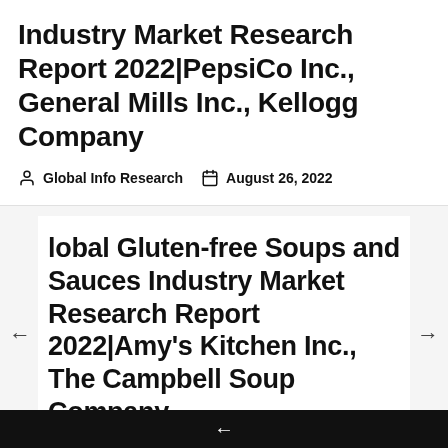Industry Market Research Report 2022|PepsiCo Inc., General Mills Inc., Kellogg Company
Global Info Research   August 26, 2022
Global Gluten-free Soups and Sauces Industry Market Research Report 2022|Amy's Kitchen Inc., The Campbell Soup Company
Global Info Research   August 26, 2022